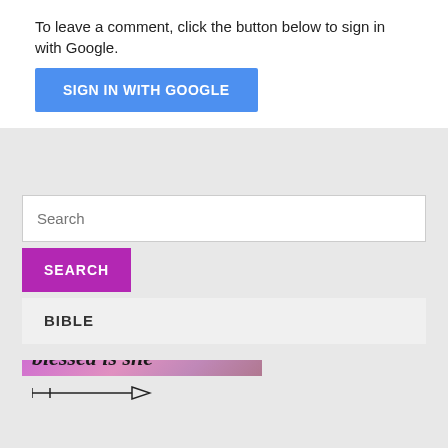To leave a comment, click the button below to sign in with Google.
[Figure (screenshot): Blue 'SIGN IN WITH GOOGLE' button]
[Figure (screenshot): Search input text field with placeholder 'Search']
[Figure (screenshot): Magenta 'SEARCH' button]
BIBLE
[Figure (illustration): Purple/pink gradient image with arrow decoration and cursive text 'blessed is she' at the bottom]